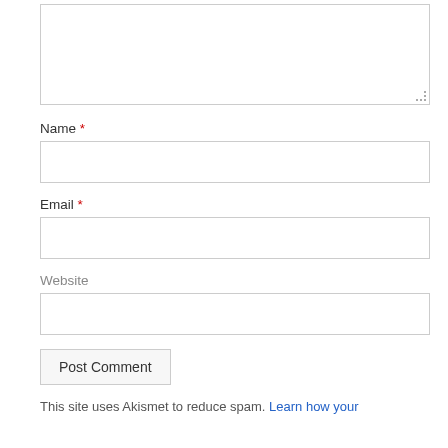[Figure (screenshot): Comment form textarea (top portion visible, partially cropped), large text input box with resize handle]
Name *
[Figure (screenshot): Name input field, single-line text box]
Email *
[Figure (screenshot): Email input field, single-line text box]
Website
[Figure (screenshot): Website input field, single-line text box]
Post Comment
This site uses Akismet to reduce spam. Learn how your